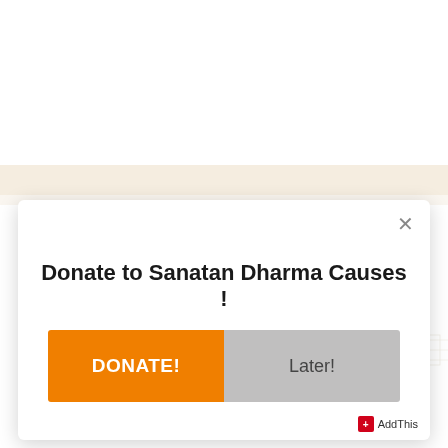[Figure (screenshot): Website background: white upper area and cream/tan decorative band with faint architectural pattern on the right side]
Donate to Sanatan Dharma Causes !
DONATE!
Later!
[Figure (logo): AddThis sharing widget badge in bottom right corner]